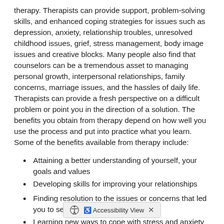therapy. Therapists can provide support, problem-solving skills, and enhanced coping strategies for issues such as depression, anxiety, relationship troubles, unresolved childhood issues, grief, stress management, body image issues and creative blocks. Many people also find that counselors can be a tremendous asset to managing personal growth, interpersonal relationships, family concerns, marriage issues, and the hassles of daily life. Therapists can provide a fresh perspective on a difficult problem or point you in the direction of a solution. The benefits you obtain from therapy depend on how well you use the process and put into practice what you learn. Some of the benefits available from therapy include:
Attaining a better understanding of yourself, your goals and values
Developing skills for improving your relationships
Finding resolution to the issues or concerns that led you to seek therapy
Learning new ways to cope with stress and anxiety
Managing anger, grief, depression, and other emotional pressures